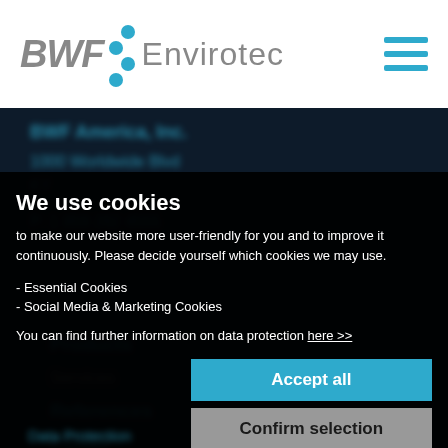BWF Envirotec
BWF America, Inc.
1000 Worldwide Blvd
KY
P: 1 859 282 4555
We use cookies
to make our website more user-friendly for you and to improve it continuously. Please decide yourself which cookies we may use.
- Essential Cookies
- Social Media & Marketing Cookies
You can find further information on data protection here >>
Products
Services
References
Career
contact
Accept all
Confirm selection
Use essential cookies only
Necessary  Social Media  Statistics  Marketing
Data Protection